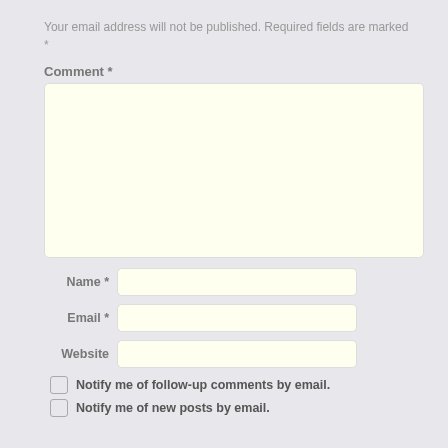Your email address will not be published. Required fields are marked *
Comment *
Name *
Email *
Website
Notify me of follow-up comments by email.
Notify me of new posts by email.